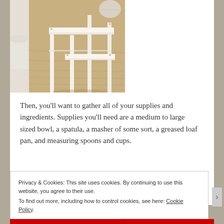[Figure (photo): Photo of a white wooden step stool with two steps, placed on a wood-grain floor. A white cylindrical object is visible to the left.]
Then, you'll want to gather all of your supplies and ingredients. Supplies you'll need are a medium to large sized bowl, a spatula, a masher of some sort, a greased loaf pan, and measuring spoons and cups.
Privacy & Cookies: This site uses cookies. By continuing to use this website, you agree to their use.
To find out more, including how to control cookies, see here: Cookie Policy